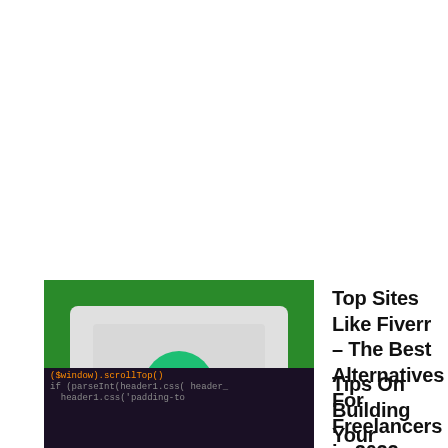[Figure (illustration): Green background with a laptop displaying the Fiverr logo (green circle with white italic 'fiverr' text), a keyboard below, and gold coins on either side]
Top Sites Like Fiverr – The Best Alternatives For Freelancers in 2022
[Figure (screenshot): Dark background code screenshot showing JavaScript code lines]
Tips On Building Your Website From Scratch To Support Your